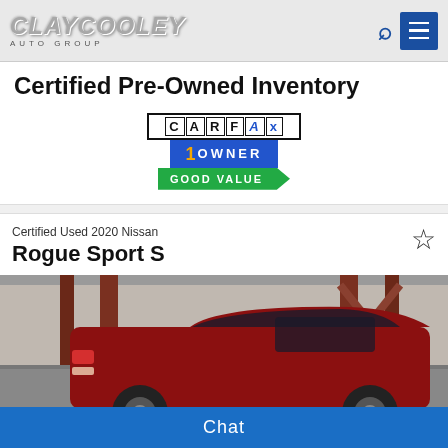Clay Cooley Auto Group
Certified Pre-Owned Inventory
[Figure (logo): CARFAX 1 Owner badge with GOOD VALUE label]
Certified Used 2020 Nissan
Rogue Sport S
[Figure (photo): Red 2020 Nissan Rogue Sport S photographed in a parking garage, rear three-quarter view]
Chat